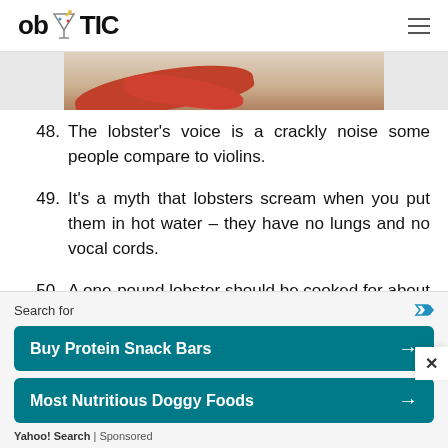ob TIC
[Figure (photo): Partial image of red lobster(s) on a white/light background, cropped at top of content area.]
48. The lobster's voice is a crackly noise some people compare to violins.
49. It's a myth that lobsters scream when you put them in hot water – they have no lungs and no vocal cords.
50. A one-pound lobster should be cooked for about 15 minutes.
51. Lobster steamed in beer is delicious. A pilsner or lager is the best choice.
Search for
Buy Protein Snack Bars →
Most Nutritious Doggy Foods →
Yahoo! Search | Sponsored